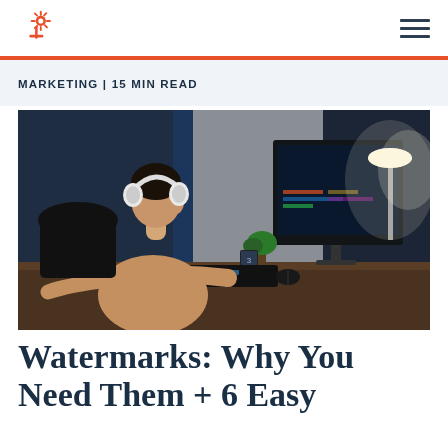HubSpot logo and navigation menu
MARKETING | 15 MIN READ
[Figure (photo): Woman wearing white headphones working at a desk with a large monitor showing video editing software, lamp illuminating the scene from the right, dark moody office environment]
Watermarks: Why You Need Them + 6 Easy